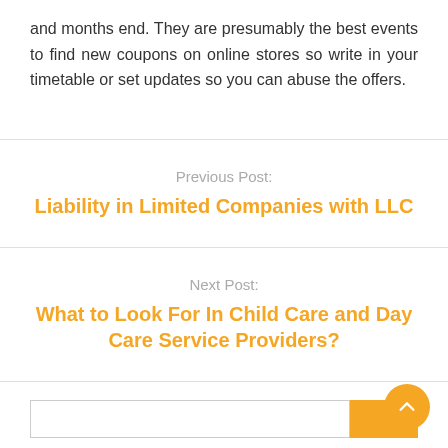and months end. They are presumably the best events to find new coupons on online stores so write in your timetable or set updates so you can abuse the offers.
Previous Post:
Liability in Limited Companies with LLC
Next Post:
What to Look For In Child Care and Day Care Service Providers?